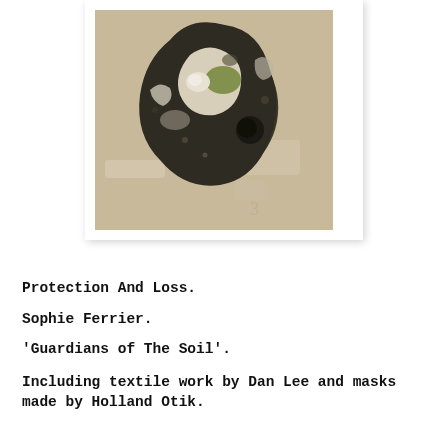[Figure (photo): A photograph of a rock or mineral art object against a beige/tan background, displayed in a white-bordered frame with a subtle drop shadow. The object appears dark and irregular in shape with some lighter mineral deposits or textures on its surface.]
Protection And Loss.
Sophie Ferrier.
'Guardians of The Soil'.
Including textile work by Dan Lee and masks made by Holland Otik.